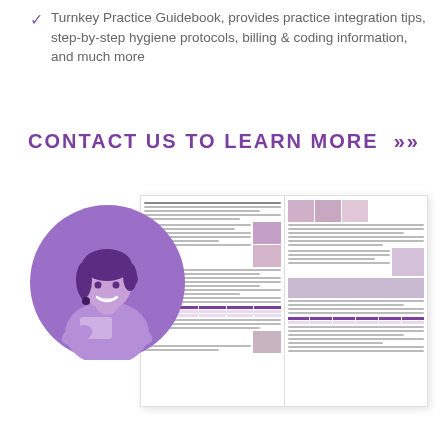Turnkey Practice Guidebook, provides practice integration tips, step-by-step hygiene protocols, billing & coding information, and much more
CONTACT US TO LEARN MORE »
[Figure (illustration): A customer service representative avatar (cartoon woman with headset) inside a purple circle, alongside an open guidebook/document spread showing text columns, medical images, and tables]